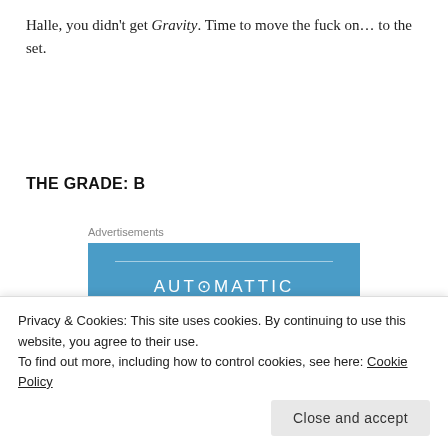Halle, you didn't get Gravity. Time to move the fuck on… to the set.
THE GRADE: B
Advertisements
[Figure (other): Automattic advertisement banner with blue background, company name 'AUTOMATTIC' in white text and partially visible text 'Love working again']
Privacy & Cookies: This site uses cookies. By continuing to use this website, you agree to their use.
To find out more, including how to control cookies, see here: Cookie Policy